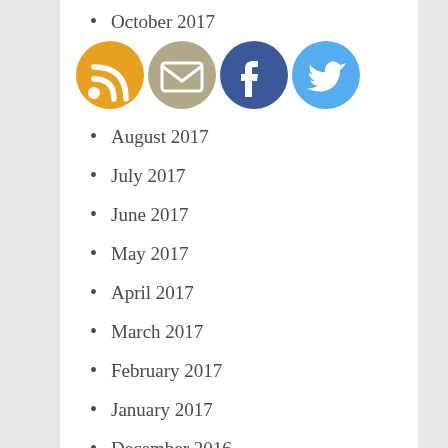October 2017
[Figure (infographic): Row of four social media icon buttons: RSS (orange), Email (tan/beige), Facebook (dark blue), Twitter (light blue)]
August 2017
July 2017
June 2017
May 2017
April 2017
March 2017
February 2017
January 2017
December 2016
November 2016